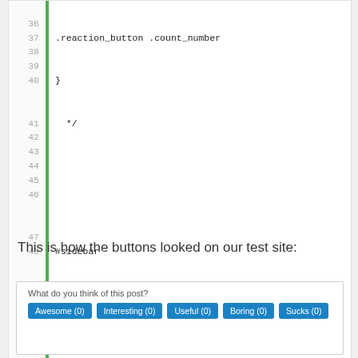[Figure (screenshot): Code editor screenshot showing CSS code lines 36-48 with line numbers and a green vertical bar. Lines show CSS selectors: #sidebar div.widget_reaction_buttons h3 with margin:0, margin-top:4px, font-size:1.1em; and #sidebar div.widget_reaction_buttons ol with margin-left:25px.]
This is how the buttons looked on our test site:
[Figure (screenshot): Preview box showing 'What do you think of this post?' with blue buttons: Awesome (0), Interesting (0), Useful (0), Boring (0), Sucks (0)]